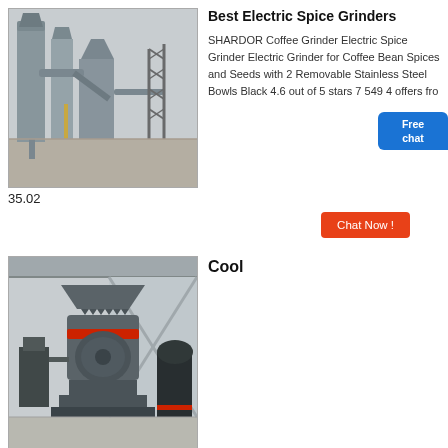[Figure (photo): Industrial grinding/milling plant exterior with large machinery, silos, pipes, and steel structures outdoors.]
Best Electric Spice Grinders
SHARDOR Coffee Grinder Electric Spice Grinder Electric Grinder for Coffee Bean Spices and Seeds with 2 Removable Stainless Steel Bowls Black 4.6 out of 5 stars 7 549 4 offers fro
35.02
[Figure (photo): Large industrial grinding mill machine (Raymond mill or similar) in a factory/warehouse setting, grey colored with red accent ring.]
Cool